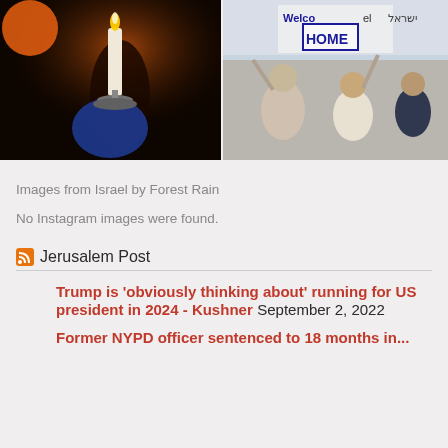[Figure (photo): Photo of a hand holding a white candle lit with flame above a candlestick holder, dark background with warm orange glow]
[Figure (photo): Photo of a crowd of people outdoors holding signs including one that reads 'Welcome Home' with Hebrew text visible, people smiling]
Images from Israel by Forest Rain
No Instagram images were found.
Jerusalem Post
Trump is 'obviously thinking about' running for US president in 2024 - Kushner September 2, 2022
Former NYPD officer sentenced to 18 months in...